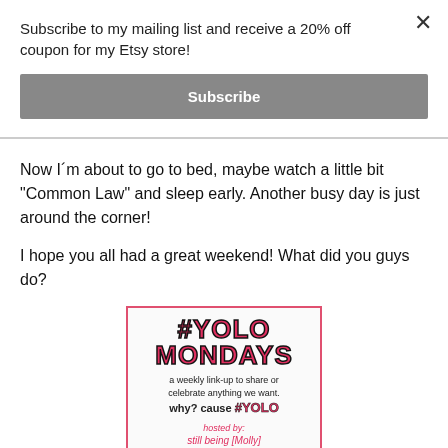Subscribe to my mailing list and receive a 20% off coupon for my Etsy store!
Subscribe
Now I´m about to go to bed, maybe watch a little bit "Common Law" and sleep early. Another busy day is just around the corner!
I hope you all had a great weekend! What did you guys do?
[Figure (illustration): #YOLO MONDAYS logo image with text: a weekly link-up to share or celebrate anything we want. why? cause #YOLO. hosted by: still being [Molly] + Lipgloss and Crayons. Pink border box.]